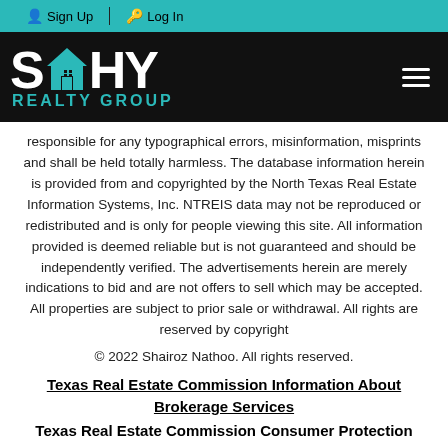Sign Up  Log In
[Figure (logo): SHY Realty Group logo with teal house icon between S and HY letters, white text on black background, teal 'REALTY GROUP' subtitle]
responsible for any typographical errors, misinformation, misprints and shall be held totally harmless. The database information herein is provided from and copyrighted by the North Texas Real Estate Information Systems, Inc. NTREIS data may not be reproduced or redistributed and is only for people viewing this site. All information provided is deemed reliable but is not guaranteed and should be independently verified. The advertisements herein are merely indications to bid and are not offers to sell which may be accepted. All properties are subject to prior sale or withdrawal. All rights are reserved by copyright
© 2022 Shairoz Nathoo. All rights reserved.
Texas Real Estate Commission Information About Brokerage Services
Texas Real Estate Commission Consumer Protection